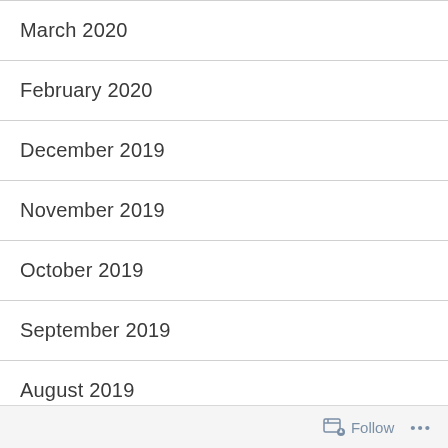March 2020
February 2020
December 2019
November 2019
October 2019
September 2019
August 2019
July 2019
June 2019
Follow ...